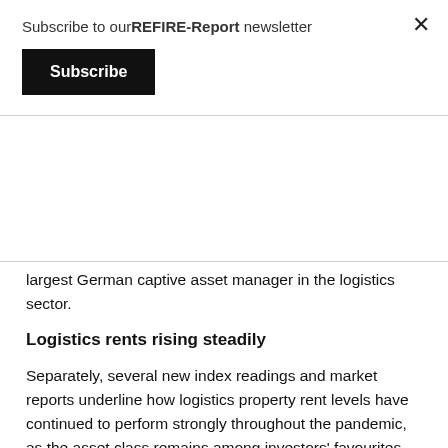Subscribe to ourREFIRE-Report newsletter
Subscribe
largest German captive asset manager in the logistics sector.
Logistics rents rising steadily
Separately, several new index readings and market reports underline how logistics property rent levels have continued to perform strongly throughout the pandemic, as the asset class remains among investors' favourites.
The Iwip Industrial Property Index from IndustrialPort shows that rents for handling and distribution centres have continued to rise steadily through the first half of 2021. However, the same is not true for warehouses and production halls, the latter which has seen falls of up to 13%, while warehouses have seen falls of 3.9%. Pure logistics properties have seen rents rise by